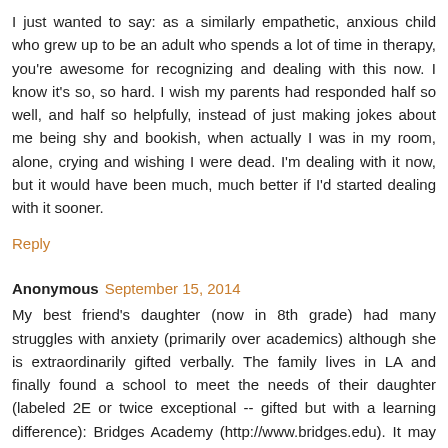I just wanted to say: as a similarly empathetic, anxious child who grew up to be an adult who spends a lot of time in therapy, you're awesome for recognizing and dealing with this now. I know it's so, so hard. I wish my parents had responded half so well, and half so helpfully, instead of just making jokes about me being shy and bookish, when actually I was in my room, alone, crying and wishing I were dead. I'm dealing with it now, but it would have been much, much better if I'd started dealing with it sooner.
Reply
Anonymous  September 15, 2014
My best friend's daughter (now in 8th grade) had many struggles with anxiety (primarily over academics) although she is extraordinarily gifted verbally. The family lives in LA and finally found a school to meet the needs of their daughter (labeled 2E or twice exceptional -- gifted but with a learning difference): Bridges Academy (http://www.bridges.edu). It may be worth a call to see if Bridges can recommend a school near you.